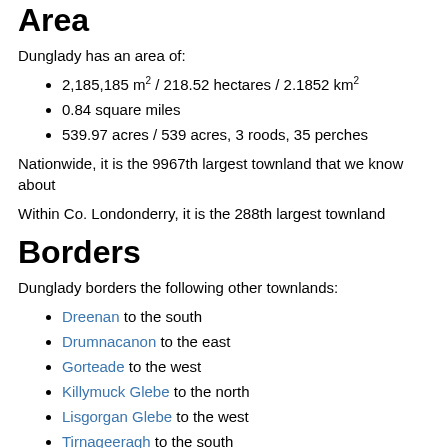Area
Dunglady has an area of:
2,185,185 m² / 218.52 hectares / 2.1852 km²
0.84 square miles
539.97 acres / 539 acres, 3 roods, 35 perches
Nationwide, it is the 9967th largest townland that we know about
Within Co. Londonderry, it is the 288th largest townland
Borders
Dunglady borders the following other townlands:
Dreenan to the south
Drumnacanon to the east
Gorteade to the west
Killymuck Glebe to the north
Lisgorgan Glebe to the west
Tirnageeragh to the south
Upperland to the west
Subtownlands